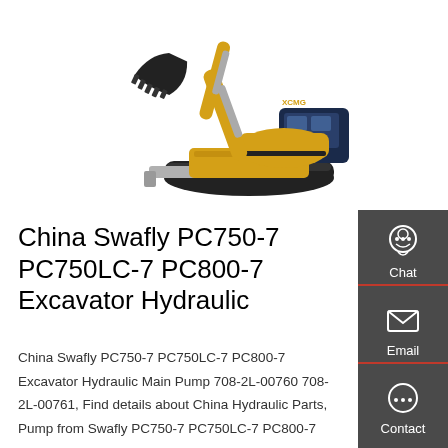[Figure (photo): Yellow hydraulic excavator (XCMG brand) with black bucket raised, dark blue cab, on black rubber tracks with blade, white background.]
China Swafly PC750-7 PC750LC-7 PC800-7 Excavator Hydraulic
China Swafly PC750-7 PC750LC-7 PC800-7 Excavator Hydraulic Main Pump 708-2L-00760 708-2L-00761, Find details about China Hydraulic Parts, Pump from Swafly PC750-7 PC750LC-7 PC800-7 Excavator Hydraulic Main Pump 708-2L-00760 708-2L-00761 - …